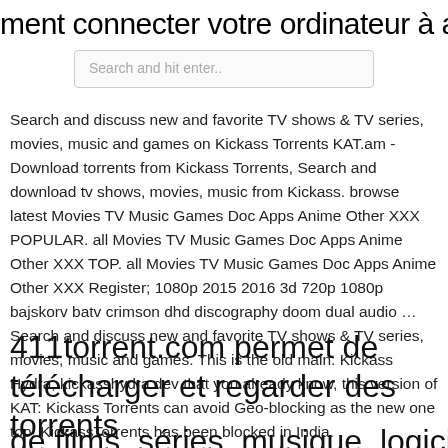ment connecter votre ordinateur à ap
Search and hit enter..
Search and discuss new and favorite TV shows & TV series, movies, music and games on Kickass Torrents KAT.am - Download torrents from Kickass Torrents, Search and download tv shows, movies, music from Kickass. browse latest Movies TV Music Games Doc Apps Anime Other XXX POPULAR. all Movies TV Music Games Doc Apps Anime Other XXX TOP. all Movies TV Music Games Doc Apps Anime Other XXX Register; 1080p 2015 2016 3d 720p 1080p bajskorv batv crimson dhd discography doom dual audio … Search and discuss new and favorite TV shows & TV series, movies, music and games. This is the old main: Kickass Hydra, kickasshydra.dev that you already know, this version of KAT: Kickass Torrents can avoid Geo-blocking as the new one too! KickassTorrents has been blocked in India.
411torrent.com permet de télécharger et regarder des torrents
de films, séries, musique, logiciels,